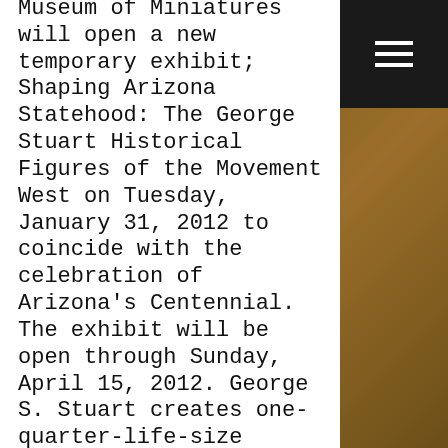Museum of Miniatures will open a new temporary exhibit; Shaping Arizona Statehood: The George Stuart Historical Figures of the Movement West on Tuesday, January 31, 2012 to coincide with the celebration of Arizona's Centennial. The exhibit will be open through Sunday, April 15, 2012. George S. Stuart creates one-quarter-life-size historic figures of individuals who were the driving force that shaped history throughout the world. This exhibit brings together fourteen figures from his Movement West group that represent more than 400 years of New World discovery and exploration, carving the path to Arizona Statehood in 1912. (January 31, 2012 to April 15, 2012)
SHOW LOW 1912-2012 – PAST